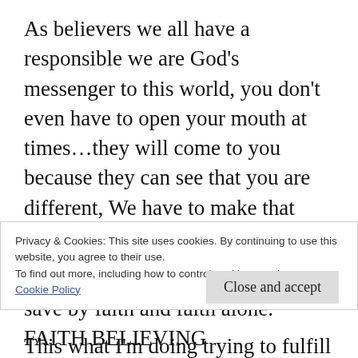As believers we all have a responsible we are God's messenger to this world, you don't even have to open your mouth at times...they will come to you because they can see that you are different, We have to make that different if not you are fooling your self, because God has the final word.
This what I'm doing trying to fulfill duties of my calling, it is a heard fight because as Paul said the god of this world have them in
Privacy & Cookies: This site uses cookies. By continuing to use this website, you agree to their use.
To find out more, including how to control cookies, see here: Cookie Policy
Close and accept
save by faith and faith alone. FAITH BELIEVING